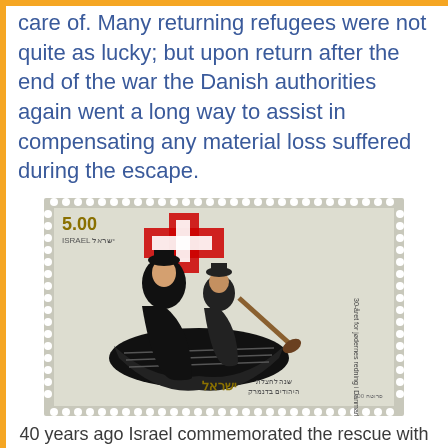care of. Many returning refugees were not quite as lucky; but upon return after the end of the war the Danish authorities again went a long way to assist in compensating any material loss suffered during the escape.
[Figure (photo): An Israeli postage stamp (5.00 Israel) commemorating the 30th anniversary of the rescue of Jews in Denmark, depicting figures in a boat with a Danish flag cross motif. Hebrew and Danish text visible on the stamp.]
40 years ago Israel commemorated the rescue with a stamp.